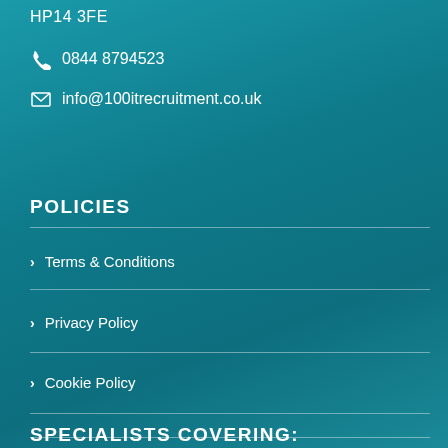HP14 3FE
0844 8794523
info@100itrecruitment.co.uk
POLICIES
Terms & Conditions
Privacy Policy
Cookie Policy
SPECIALISTS COVERING: